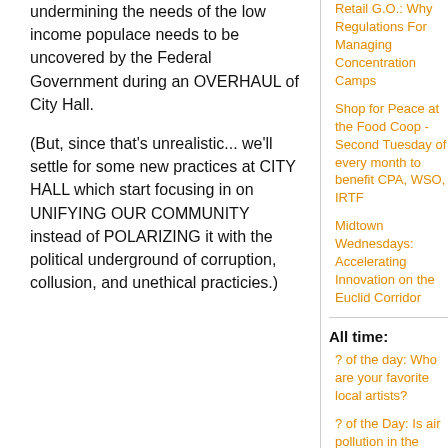undermining the needs of the low income populace needs to be uncovered by the Federal Government during an OVERHAUL of City Hall.
(But, since that's unrealistic... we'll settle for some new practices at CITY HALL which start focusing in on UNIFYING OUR COMMUNITY instead of POLARIZING it with the political underground of corruption, collusion, and unethical practicies.)
Retail G.O.: Why Regulations For Managing Concentration Camps
Shop for Peace at the Food Coop - Second Tuesday of every month to benefit CPA, WSO, IRTF
Midtown Wednesdays: Accelerating Innovation on the Euclid Corridor
All time:
? of the day: Who are your favorite local artists?
? of the Day: Is air pollution in the region becoming better, staying the same or becoming worse?
Last viewed:
Jay Hotel